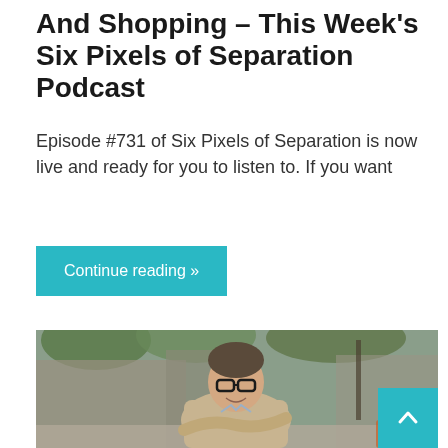And Shopping – This Week's Six Pixels of Separation Podcast
Episode #731 of Six Pixels of Separation is now live and ready for you to listen to. If you want
Continue reading »
[Figure (photo): Smiling middle-aged man with glasses wearing a beige blazer and light blue shirt, arms crossed, photographed outdoors in front of a restaurant or café setting with blurred background of trees and storefronts.]